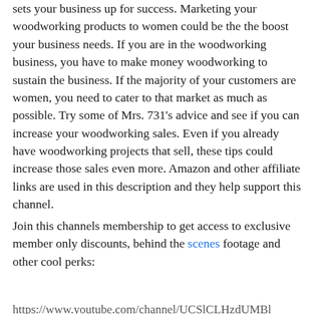sets your business up for success. Marketing your woodworking products to women could be the the boost your business needs. If you are in the woodworking business, you have to make money woodworking to sustain the business. If the majority of your customers are women, you need to cater to that market as much as possible. Try some of Mrs. 731's advice and see if you can increase your woodworking sales. Even if you already have woodworking projects that sell, these tips could increase those sales even more. Amazon and other affiliate links are used in this description and they help support this channel.
Join this channels membership to get access to exclusive member only discounts, behind the scenes footage and other cool perks:
https://www.youtube.com/channel/UCSlCLHzdUMBl...